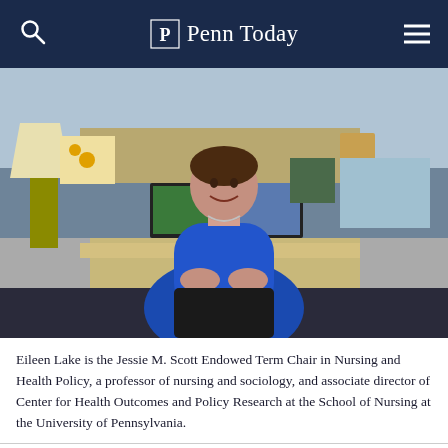Penn Today
[Figure (photo): Eileen Lake seated at her desk in a university office, wearing a blue top, with dual computer monitors, bookshelves, and office items in the background.]
Eileen Lake is the Jessie M. Scott Endowed Term Chair in Nursing and Health Policy, a professor of nursing and sociology, and associate director of Center for Health Outcomes and Policy Research at the School of Nursing at the University of Pennsylvania.
[Figure (photo): Small thumbnail image used as article teaser]
hen the Institute of Medicine (IOM)